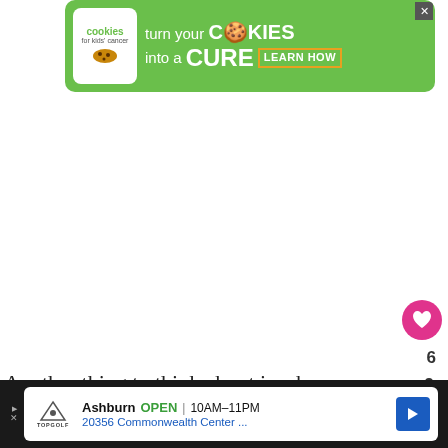[Figure (screenshot): Green advertisement banner for Cookies for Kids' Cancer charity. White rounded logo on left, text reads 'turn your COOKIES into a CURE LEARN HOW' in white on green background. Close button top right.]
Another thing to think about is who you
[Figure (screenshot): What's Next panel showing a floral image thumbnail and text 'WHAT'S NEXT → Baby Registry Checklist (+...']
[Figure (screenshot): Bottom advertisement banner for Topgolf in Ashburn. Shows Topgolf logo, 'Ashburn OPEN 10AM-11PM', '20356 Commonwealth Center ...' with navigation arrow.]